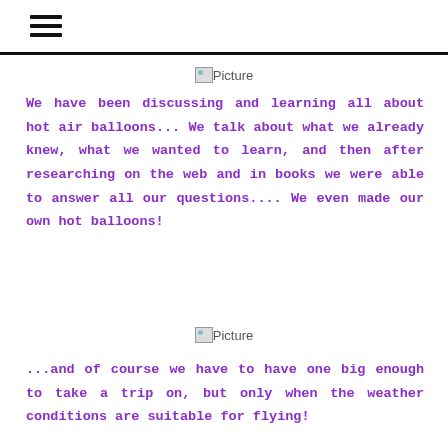[Figure (other): Hamburger menu icon (three horizontal lines)]
[Figure (photo): Broken image placeholder labeled 'Picture']
We have been discussing and learning all about hot air balloons... We talk about what we already knew, what we wanted to learn, and then after researching on the web and in books we were able to answer all our questions.... We even made our own hot balloons!
[Figure (photo): Broken image placeholder labeled 'Picture']
...and of course we have to have one big enough to take a trip on, but only when the weather conditions are suitable for flying!